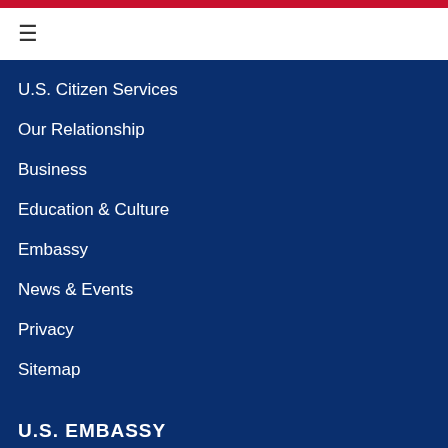U.S. Citizen Services
Our Relationship
Business
Education & Culture
Embassy
News & Events
Privacy
Sitemap
U.S. EMBASSY
U.S. Embassy Bratislava
P.O. Box 309